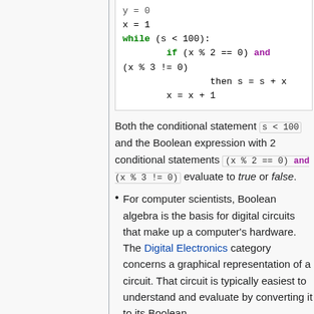[Figure (screenshot): Code block showing Python-like pseudocode with while loop and if/and conditional, syntax highlighted in green and purple]
Both the conditional statement s < 100 and the Boolean expression with 2 conditional statements (x % 2 == 0) and (x % 3 != 0) evaluate to true or false.
For computer scientists, Boolean algebra is the basis for digital circuits that make up a computer's hardware. The Digital Electronics category concerns a graphical representation of a circuit. That circuit is typically easiest to understand and evaluate by converting it to its Boolean